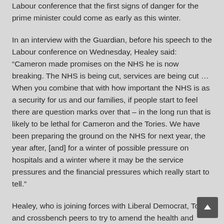Labour conference that the first signs of danger for the prime minister could come as early as this winter.
In an interview with the Guardian, before his speech to the Labour conference on Wednesday, Healey said: “Cameron made promises on the NHS he is now breaking. The NHS is being cut, services are being cut … When you combine that with how important the NHS is as a security for us and our families, if people start to feel there are question marks over that – in the long run that is likely to be lethal for Cameron and the Tories. We have been preparing the ground on the NHS for next year, the year after, [and] for a winter of possible pressure on hospitals and a winter where it may be the service pressures and the financial pressures which really start to tell.”
Healey, who is joining forces with Liberal Democrat, Tory and crossbench peers to try to amend the health and social care bill in the Lords next month, will identify a series of problems with the NHS: